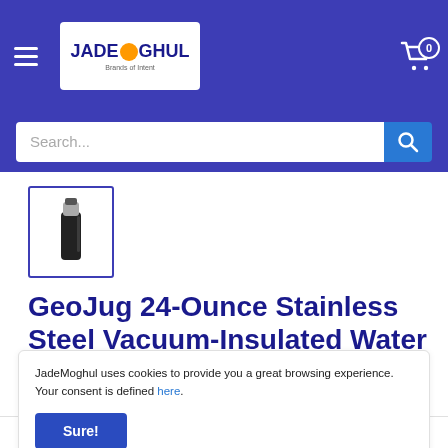JadeMoghul — navigation header with logo, cart (0)
Search...
[Figure (photo): Thumbnail of a black GeoJug stainless steel vacuum-insulated water bottle]
GeoJug 24-Ounce Stainless Steel Vacuum-Insulated Water Bottle (Black)
JadeMoghul uses cookies to provide you a great browsing experience. Your consent is defined here.
Sure!
Quantity: 1